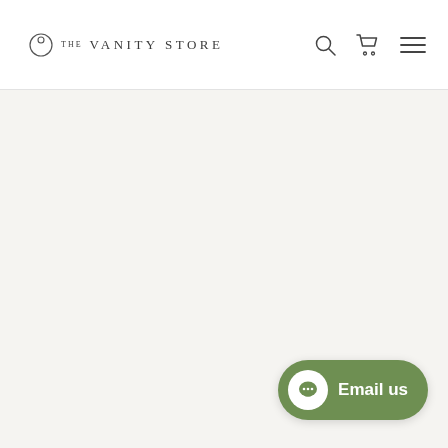THE VANITY STORE
[Figure (screenshot): Large empty gray-beige content area below the header]
[Figure (other): Green rounded pill button with chat bubble icon and 'Email us' label in bottom-right corner]